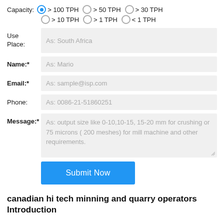Capacity: > 100 TPH (selected) > 50 TPH > 30 TPH > 10 TPH > 1 TPH < 1 TPH
Use Place: As: South Africa
Name:* As: Mario
Email:* As: sample@isp.com
Phone: As: 0086-21-51860251
Message:* As: output size like 0-10,10-15, 15-20 mm for crushing or 75 microns ( 200 meshes) for mill machine and other requirements.
Submit Now
canadian hi tech minning and quarry operators Introduction